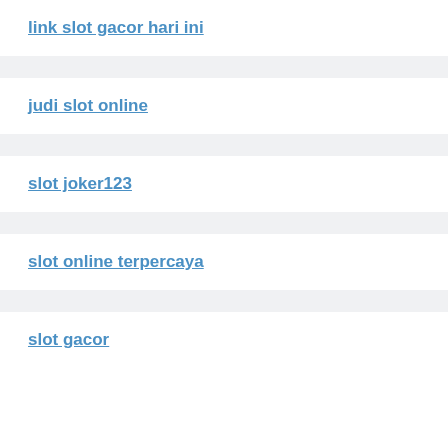link slot gacor hari ini
judi slot online
slot joker123
slot online terpercaya
slot gacor